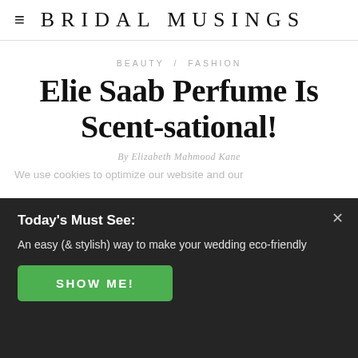BRIDAL MUSINGS
BEAUTY / FASHION
Elie Saab Perfume Is Scent-sational!
By Elizabeth Mahmood Kane
We use cookies to optimize our website and our
Today's Must See:
An easy (& stylish) way to make your wedding eco-friendly
SHOW ME!